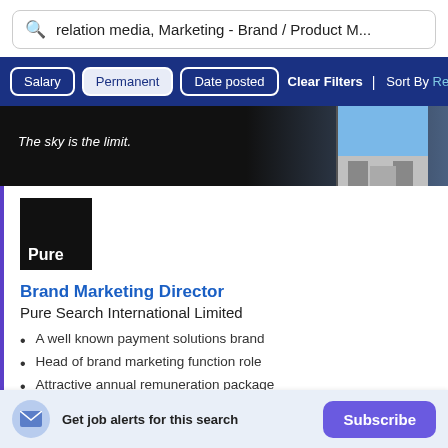relation media, Marketing - Brand / Product M...
Salary | Permanent | Date posted | Clear Filters | Sort By Rel
[Figure (photo): Dark banner image with text 'The sky is the limit.' and a sky view through a building window on the right]
[Figure (logo): Pure company logo - black square with white text 'Pure']
Brand Marketing Director
Pure Search International Limited
A well known payment solutions brand
Head of brand marketing function role
Attractive annual remuneration package
Get job alerts for this search
Subscribe